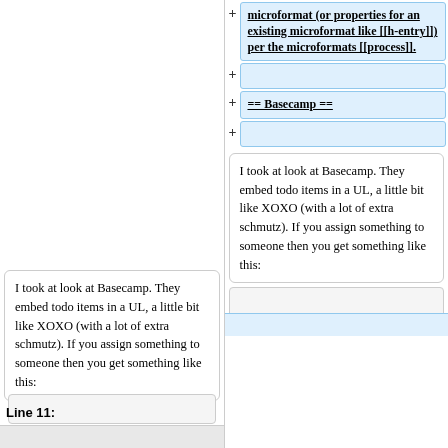+ microformat (or properties for an existing microformat like [[h-entry]]) per the microformats [[process]].
+
+ == Basecamp ==
+
I took at look at Basecamp. They embed todo items in a UL, a little bit like XOXO (with a lot of extra schmutz). If you assign something to someone then you get something like this:
I took at look at Basecamp. They embed todo items in a UL, a little bit like XOXO (with a lot of extra schmutz). If you assign something to someone then you get something like this:
Line 11:
Line 17: